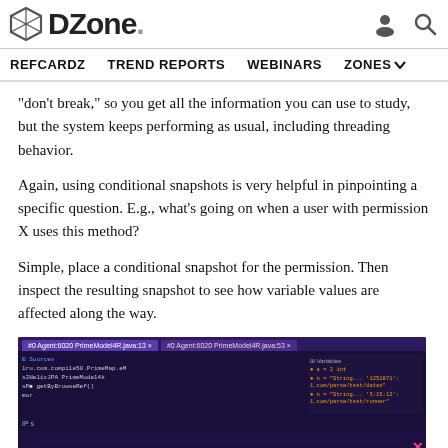DZone. — REFCARDZ  TREND REPORTS  WEBINARS  ZONES
“don’t break,” so you get all the information you can use to study, but the system keeps performing as usual, including threading behavior.
Again, using conditional snapshots is very helpful in pinpointing a specific question. E.g., what’s going on when a user with permission X uses this method?
Simple, place a conditional snapshot for the permission. Then inspect the resulting snapshot to see how variable values are affected along the way.
[Figure (screenshot): IDE debugger screenshot showing LightRun Snapshots with two open tabs, code stack trace on the left and variable watch panel on the right, with a TrustRadius advertisement overlay saying 'SingleStore is the fastest database ever tested by us. 10/10.']
Developers often have a strained relationship with debugging tools.